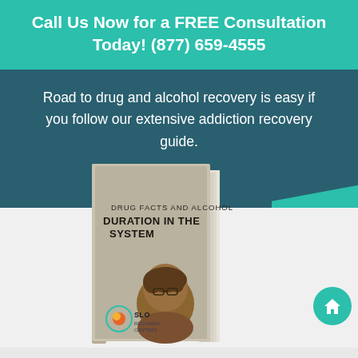Call Us Now for a FREE Consultation Today! (877) 659-4555
Road to drug and alcohol recovery is easy if you follow our extensive addiction recovery guide.
[Figure (photo): A book titled 'DRUG FACTS AND ALCOHOL DURATION IN THE SYSTEM' with the SLO Recovery Centers logo and a person with glasses visible on the cover, shown in a slightly angled 3D perspective view.]